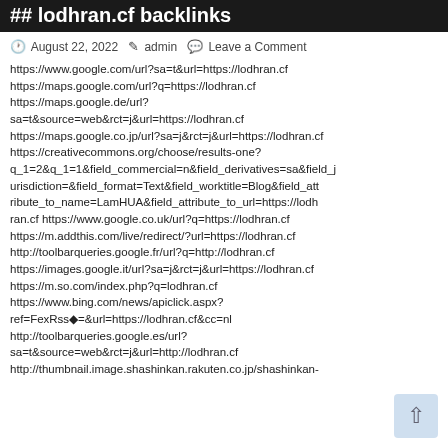## lodhran.cf backlinks
August 22, 2022  admin  Leave a Comment
https://www.google.com/url?sa=t&url=https://lodhran.cf https://maps.google.com/url?q=https://lodhran.cf https://maps.google.de/url?sa=t&source=web&rct=j&url=https://lodhran.cf https://maps.google.co.jp/url?sa=j&rct=j&url=https://lodhran.cf https://creativecommons.org/choose/results-one?q_1=2&q_1=1&field_commercial=n&field_derivatives=sa&field_jurisdiction=&field_format=Text&field_worktitle=Blog&field_attribute_to_name=LamHUA&field_attribute_to_url=https://lodhran.cf https://www.google.co.uk/url?q=https://lodhran.cf https://m.addthis.com/live/redirect/?url=https://lodhran.cf http://toolbarqueries.google.fr/url?q=http://lodhran.cf https://images.google.it/url?sa=j&rct=j&url=https://lodhran.cf https://m.so.com/index.php?q=lodhran.cf https://www.bing.com/news/apiclick.aspx?ref=FexRss◆=&url=https://lodhran.cf&cc=nl http://toolbarqueries.google.es/url?sa=t&source=web&rct=j&url=http://lodhran.cf http://thumbnail.image.shashinkan.rakuten.co.jp/shashinkan-